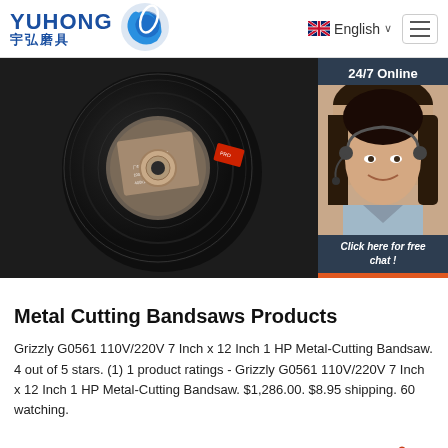YUHONG 宇弘磨具 | English | Menu
[Figure (photo): A circular metal cutting abrasive disc (grinding wheel) with a dark surface and center hole, with product label text visible]
[Figure (infographic): 24/7 Online customer service widget showing a woman with headset and 'Click here for free chat!' with QUOTATION button]
Metal Cutting Bandsaws Products
Grizzly G0561 110V/220V 7 Inch x 12 Inch 1 HP Metal-Cutting Bandsaw. 4 out of 5 stars. (1) 1 product ratings - Grizzly G0561 110V/220V 7 Inch x 12 Inch 1 HP Metal-Cutting Bandsaw. $1,286.00. $8.95 shipping. 60 watching.
Get Price